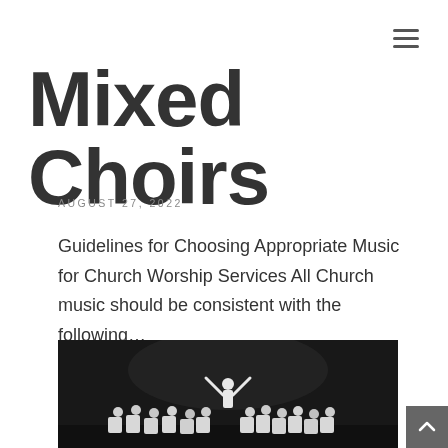Mixed Choirs
AUGUST 27, 2022
Guidelines for Choosing Appropriate Music for Church Worship Services All Church music should be consistent with the following…
READ MORE →
[Figure (photo): Choir on stage performing, conductor with arms raised, group of singers in white tops against dark background]